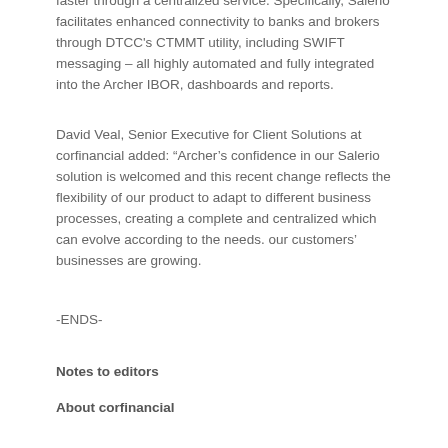of technology enables asset managers to match trades faster through a centralized service. Specifically, Salerio facilitates enhanced connectivity to banks and brokers through DTCC's CTMMT utility, including SWIFT messaging – all highly automated and fully integrated into the Archer IBOR, dashboards and reports.
David Veal, Senior Executive for Client Solutions at corfinancial added: “Archer’s confidence in our Salerio solution is welcomed and this recent change reflects the flexibility of our product to adapt to different business processes, creating a complete and centralized which can evolve according to the needs. our customers’ businesses are growing.
-ENDS-
Notes to editors
About corfinancial